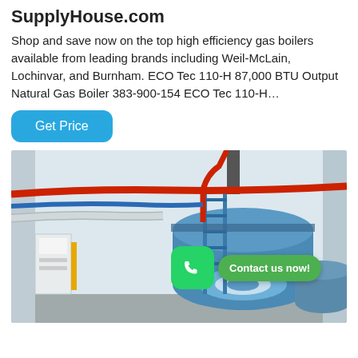SupplyHouse.com
Shop and save now on the top high efficiency gas boilers available from leading brands including Weil-McLain, Lochinvar, and Burnham. ECO Tec 110-H 87,000 BTU Output Natural Gas Boiler 383-900-154 ECO Tec 110-H…
Get Price
[Figure (photo): Industrial gas boiler room showing large blue cylindrical boilers with red and blue pipes overhead, yellow detail pipe visible on left, with a WhatsApp icon and 'Contact us now!' green bubble overlay in the foreground.]